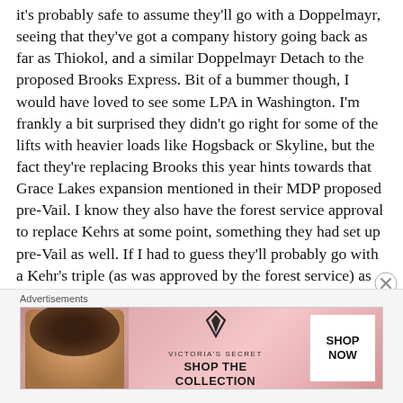it's probably safe to assume they'll go with a Doppelmayr, seeing that they've got a company history going back as far as Thiokol, and a similar Doppelmayr Detach to the proposed Brooks Express. Bit of a bummer though, I would have loved to see some LPA in Washington. I'm frankly a bit surprised they didn't go right for some of the lifts with heavier loads like Hogsback or Skyline, but the fact they're replacing Brooks this year hints towards that Grace Lakes expansion mentioned in their MDP proposed pre-Vail. I know they also have the forest service approval to replace Kehrs at some point, something they had set up pre-Vail as well. If I had to guess they'll probably go with a Kehr's triple (as was approved by the forest service) as well as relocating the base of Kehr's, seeing that it's current location is far from convenient to access. They'll probably then set their
Advertisements
[Figure (other): Victoria's Secret advertisement banner with model photo on left, VS logo and 'SHOP THE COLLECTION' text in center, 'SHOP NOW' button on right, pink/rose background]